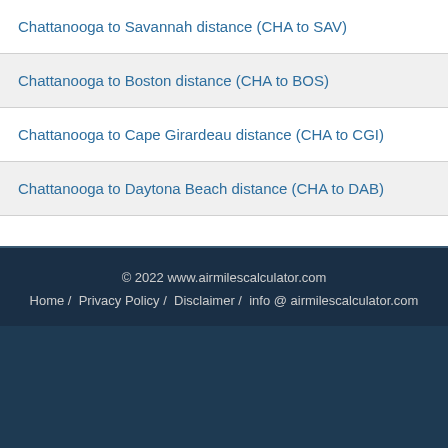Chattanooga to Savannah distance (CHA to SAV)
Chattanooga to Boston distance (CHA to BOS)
Chattanooga to Cape Girardeau distance (CHA to CGI)
Chattanooga to Daytona Beach distance (CHA to DAB)
© 2022 www.airmilescalculator.com Home / Privacy Policy / Disclaimer / info @ airmilescalculator.com